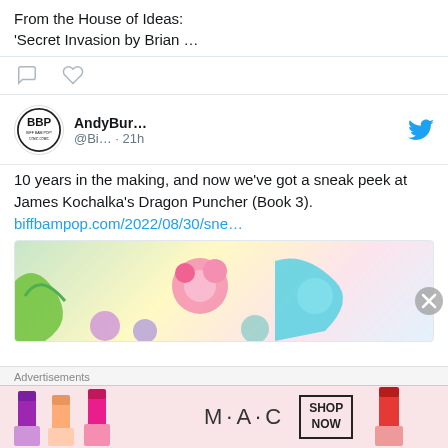From the House of Ideas: 'Secret Invasion by Brian …
[Figure (other): Comment and heart/like icons row]
[Figure (other): Tweet card: AndyBur... @Bi... · 21h with BBP logo avatar and Twitter bird icon]
10 years in the making, and now we've got a sneak peek at James Kochalka's Dragon Puncher (Book 3). biffbampop.com/2022/08/30/sne…
[Figure (illustration): Colorful cartoon illustration showing dragon and character artwork]
Advertisements
[Figure (photo): M·A·C cosmetics advertisement showing lipsticks with SHOP NOW text]